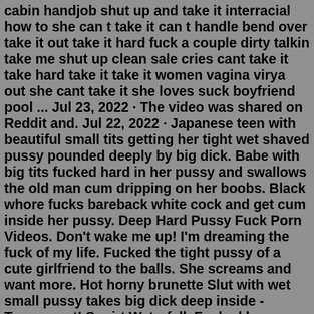cabin handjob shut up and take it interracial how to she can t take it can t handle bend over take it out take it hard fuck a couple dirty talkin take me shut up clean sale cries cant take it take hard take it take it women vagina virya out she cant take it she loves suck boyfriend pool ... Jul 23, 2022 · The video was shared on Reddit and. Jul 22, 2022 · Japanese teen with beautiful small tits getting her tight wet shaved pussy pounded deeply by big dick. Babe with big tits fucked hard in her pussy and swallows the old man cum dripping on her boobs. Black whore fucks bareback white cock and get cum inside her pussy. Deep Hard Pussy Fuck Porn Videos. Don't wake me up! I'm dreaming the fuck of my life. Fucked the tight pussy of a cute girlfriend to the balls. She screams and want more. Hot horny brunette Slut with wet small pussy takes big dick deep inside - Tongue out! Squirt Waterfall. Fucked her HARD & DEEP, cumshot. Big ass milf in lingerie takes it hard from behind. Tags: big ass, fuck, hardcore, horny, housewife, lingerie, mature, milf. Related Videos...